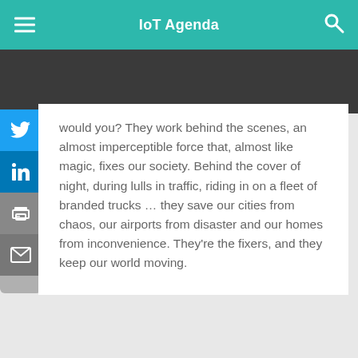IoT Agenda
would you? They work behind the scenes, an almost imperceptible force that, almost like magic, fixes our society. Behind the cover of night, during lulls in traffic, riding in on a fleet of branded trucks … they save our cities from chaos, our airports from disaster and our homes from inconvenience. They're the fixers, and they keep our world moving.